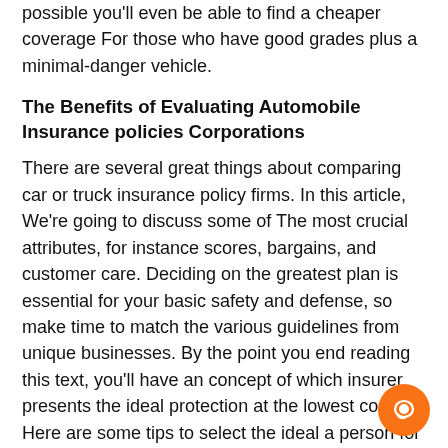possible you'll even be able to find a cheaper coverage For those who have good grades plus a minimal-danger vehicle.
The Benefits of Evaluating Automobile Insurance policies Corporations
There are several great things about comparing car or truck insurance policy firms. In this article, We're going to discuss some of The most crucial attributes, for instance scores, bargains, and customer care. Deciding on the greatest plan is essential for your basic safety and defense, so make time to match the various guidelines from unique businesses. By the point you end reading this text, you'll have an concept of which insurer presents the ideal protection at the lowest cost. Here are some tips to select the ideal a person for yourself:
Comparison of auto insurance policy companies
To have the greatest rate, you need to Examine car insurance policies quotes from unique organizations. Insurers use